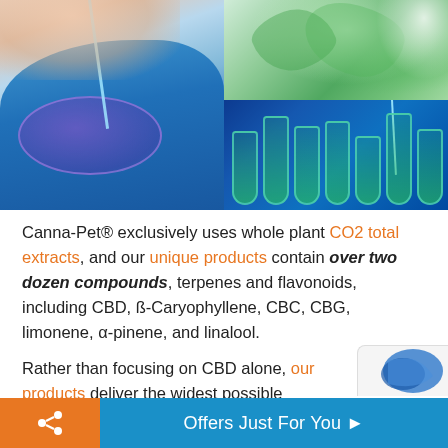[Figure (photo): Left: Scientist in blue gloves holding a petri dish with a dropper/pipette. Top right: Green plant leaves being held. Bottom right: Blue-lit laboratory test tubes with green liquid and a dropper.]
Canna-Pet® exclusively uses whole plant CO2 total extracts, and our unique products contain over two dozen compounds, terpenes and flavonoids, including CBD, ß-Caryophyllene, CBC, CBG, limonene, α-pinene, and linalool.
Rather than focusing on CBD alone, our products deliver the widest possible array of
Offers Just For You ▶